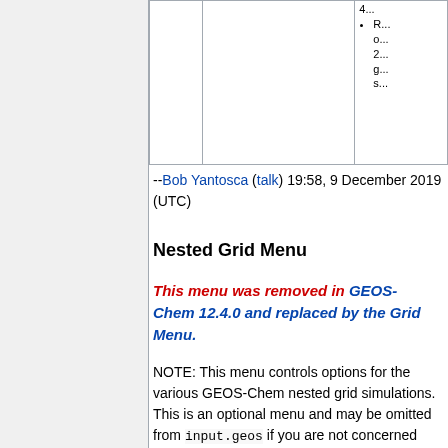|  |  | 4...
• R...o...2...g...s... |
--Bob Yantosca (talk) 19:58, 9 December 2019 (UTC)
Nested Grid Menu
This menu was removed in GEOS-Chem 12.4.0 and replaced by the Grid Menu.
NOTE: This menu controls options for the various GEOS-Chem nested grid simulations. This is an optional menu and may be omitted from input.geos if you are not concerned with these simulations.